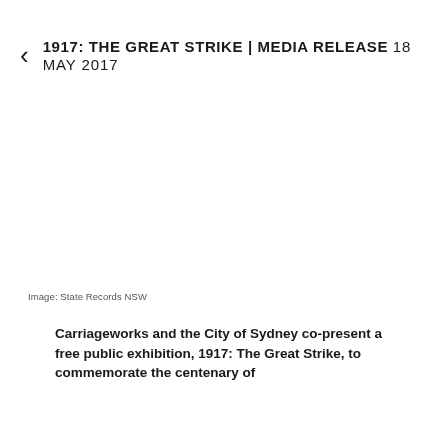1917: THE GREAT STRIKE | MEDIA RELEASE 18 MAY 2017
[Figure (photo): White/blank image area representing a historical photograph related to the 1917 Great Strike]
Image: State Records NSW
Carriageworks and the City of Sydney co-present a free public exhibition, 1917: The Great Strike, to commemorate the centenary of